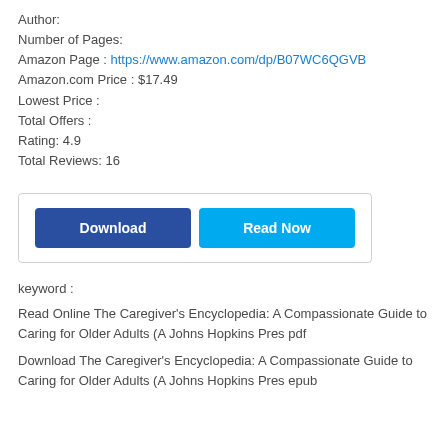Author:
Number of Pages:
Amazon Page : https://www.amazon.com/dp/B07WC6QGVB
Amazon.com Price : $17.49
Lowest Price :
Total Offers :
Rating: 4.9
Total Reviews: 16
[Figure (other): Two buttons: 'Download' (dark blue) and 'Read Now' (light blue) inside a light bordered box]
keyword :
Read Online The Caregiver's Encyclopedia: A Compassionate Guide to Caring for Older Adults (A Johns Hopkins Pres pdf
Download The Caregiver's Encyclopedia: A Compassionate Guide to Caring for Older Adults (A Johns Hopkins Pres epub